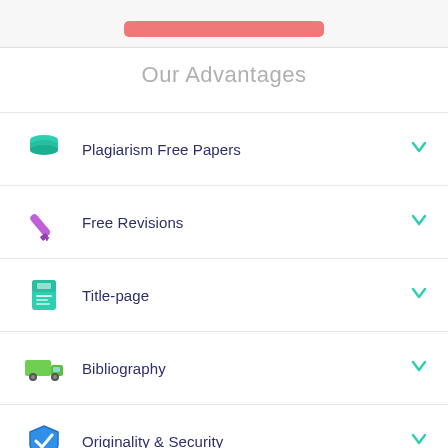Our Advantages
Plagiarism Free Papers
Free Revisions
Title-page
Bibliography
Originality & Security